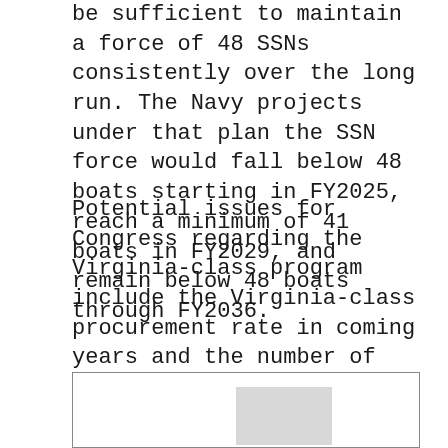be sufficient to maintain a force of 48 SSNs consistently over the long run. The Navy projects under that plan the SSN force would fall below 48 boats starting in FY2025, reach a minimum of 41 boats in FY2029, and remain below 48 boats through FY2036.
Potential issues for Congress regarding the Virginia-class program include the Virginia-class procurement rate in coming years and the number of Virginia-class boats procured in FY2019 and subsequent years that will be equipped with the VPM.
[Figure (other): A bordered box containing a gray rectangular image/figure region, partially visible at the bottom of the page.]